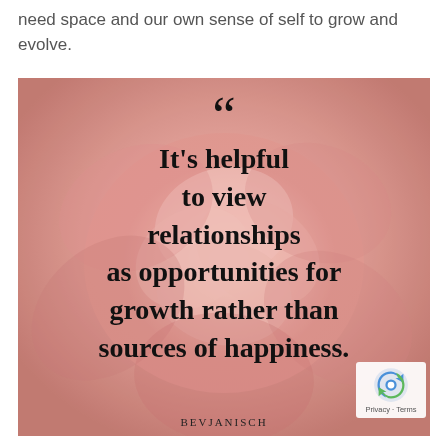need space and our own sense of self to grow and evolve.
[Figure (illustration): A quote image overlaid on a blurred pink rose background. Large open-quotation marks at the top, followed by bold serif text: "It’s helpful to view relationships as opportunities for growth rather than sources of happiness." Attribution at the bottom reads BEVJANISCH. A reCAPTCHA badge appears in the lower right corner with Privacy · Terms text.]